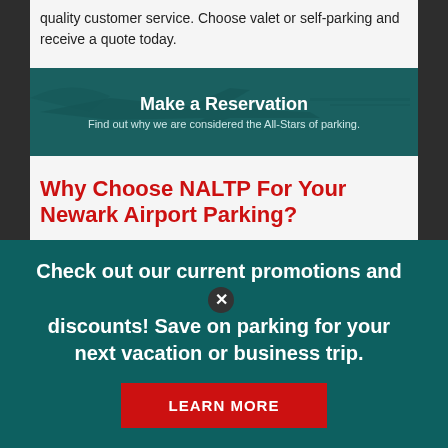quality customer service. Choose valet or self-parking and receive a quote today.
[Figure (screenshot): Dark teal banner with airplane silhouette. Text reads 'Make a Reservation' with subtitle 'Find out why we are considered the All-Stars of parking.']
Why Choose NALTP For Your Newark Airport Parking?
NALTP is not the cheapest Newark Airport parking reservation provider, and we don't want to be. Being that cheap requires sacrifices that we're not willing to make. When you choose NALTP, you do so knowing that you are going to get a high level
Check out our current promotions and discounts! Save on parking for your next vacation or business trip.